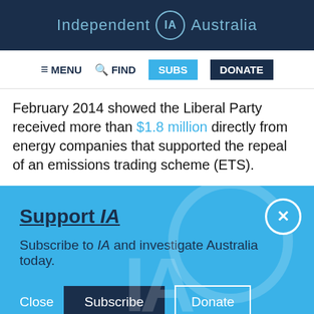Independent IA Australia
≡ MENU  🔍 FIND  SUBS  DONATE
February 2014 showed the Liberal Party received more than $1.8 million directly from energy companies that supported the repeal of an emissions trading scheme (ETS).
Support IA
Subscribe to IA and investigate Australia today.
Close  Subscribe  Donate
Twitter  Facebook  LinkedIn  Flipboard  Link  Plus